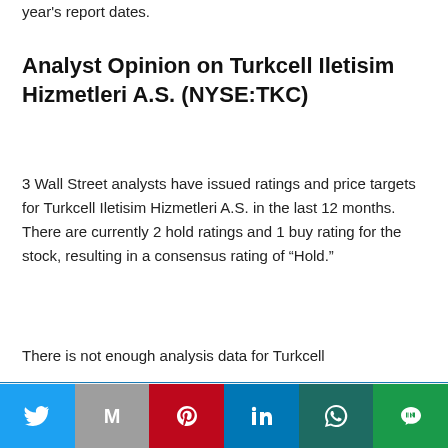year's report dates.
Analyst Opinion on Turkcell Iletisim Hizmetleri A.S. (NYSE:TKC)
3 Wall Street analysts have issued ratings and price targets for Turkcell Iletisim Hizmetleri A.S. in the last 12 months. There are currently 2 hold ratings and 1 buy rating for the stock, resulting in a consensus rating of “Hold.”
There is not enough analysis data for Turkcell
This website uses cookies.
[Figure (infographic): Social media sharing buttons: Twitter (blue), Gmail (gray), Pinterest (red), LinkedIn (blue), WhatsApp (dark teal), Line (green)]